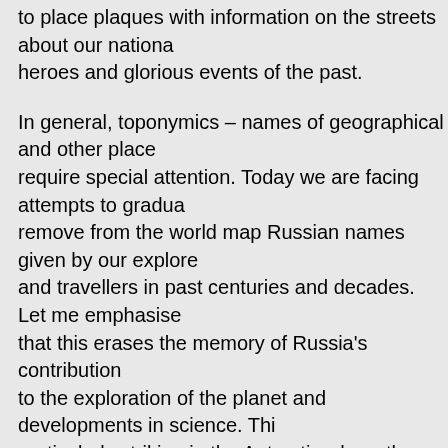to place plaques with information on the streets about our national heroes and glorious events of the past.
In general, toponymics – names of geographical and other places – require special attention. Today we are facing attempts to gradually remove from the world map Russian names given by our explorers and travellers in past centuries and decades. Let me emphasise that this erases the memory of Russia's contribution to the exploration of the planet and developments in science. This is particularly striking in the Antarctic where the names given by the discoverers of the continent Lazarev and Bellinshausen have almost ceased to exist.
Today very few people know that Borodino is the primordial, historical name of the island of Smith, that Snow is Maly Yaroslavets, Livingstone is Smolensk and so on. Meanwhile, we will celebrate the anniversary of the discovery of the Antarctic in 2020. This is the achievement of Russian seafarers. Examples of name substitution are not limited to the remote Antarctic, some